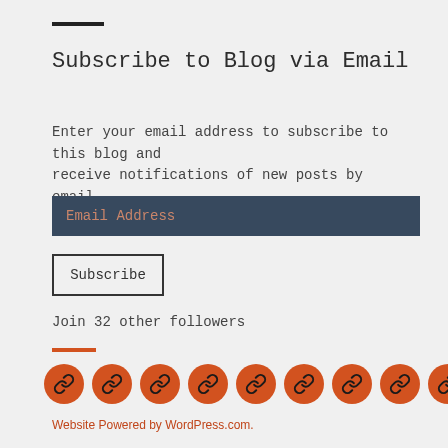Subscribe to Blog via Email
Enter your email address to subscribe to this blog and receive notifications of new posts by email.
Email Address
Subscribe
Join 32 other followers
[Figure (illustration): Nine orange circular social media link icons in a row]
Website Powered by WordPress.com.